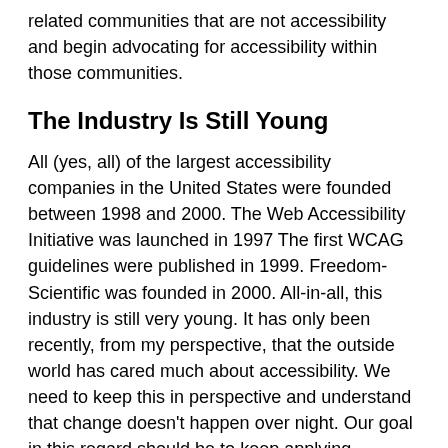related communities that are not accessibility and begin advocating for accessibility within those communities.
The Industry Is Still Young
All (yes, all) of the largest accessibility companies in the United States were founded between 1998 and 2000. The Web Accessibility Initiative was launched in 1997 The first WCAG guidelines were published in 1999. Freedom-Scientific was founded in 2000. All-in-all, this industry is still very young. It has only been recently, from my perspective, that the outside world has cared much about accessibility. We need to keep this in perspective and understand that change doesn’t happen over night. Our goal in this regard should be to keep applying pressure. Increased awareness will come if we remain diligent but patient in continuing to apply pressure.
FUD